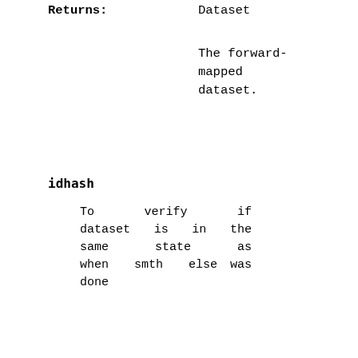Returns:    Dataset
The forward-mapped dataset.
idhash
To verify if dataset is in the same state as when smth else was done
Like if classifier was trained on the same dataset as in question
item()
Provide the first